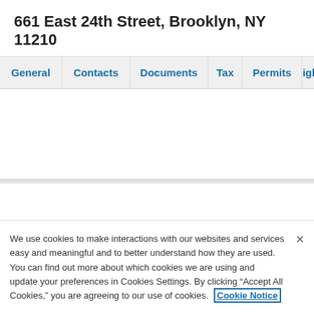661 East 24th Street, Brooklyn, NY 11210
General | Contacts | Documents | Tax | Permits | Neighbo
We use cookies to make interactions with our websites and services easy and meaningful and to better understand how they are used. You can find out more about which cookies we are using and update your preferences in Cookies Settings. By clicking "Accept All Cookies," you are agreeing to our use of cookies. Cookie Notice